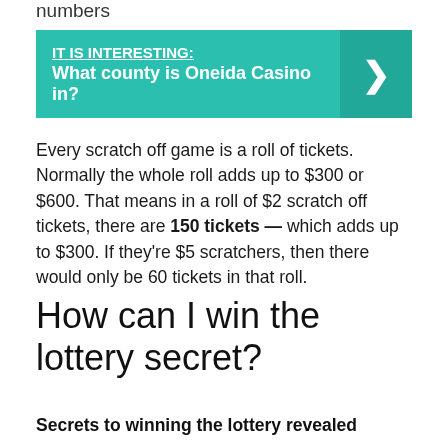numbers
[Figure (infographic): Teal callout box with text 'IT IS INTERESTING: What county is Oneida Casino in?' and a right-arrow chevron on the right side.]
Every scratch off game is a roll of tickets. Normally the whole roll adds up to $300 or $600. That means in a roll of $2 scratch off tickets, there are 150 tickets — which adds up to $300. If they're $5 scratchers, then there would only be 60 tickets in that roll.
How can I win the lottery secret?
Secrets to winning the lottery revealed